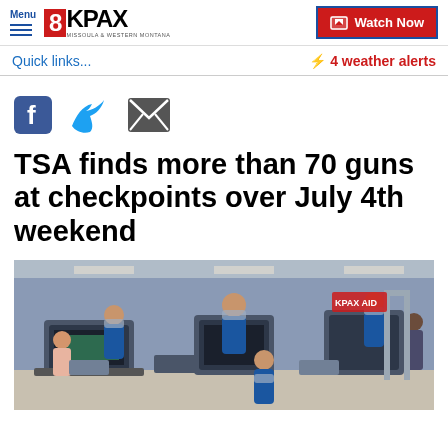Menu | 8KPAX Missoula & Western Montana | Watch Now
Quick links...
⚡ 4 weather alerts
[Figure (other): Social media share icons: Facebook, Twitter, Email]
TSA finds more than 70 guns at checkpoints over July 4th weekend
[Figure (photo): TSA security checkpoint scene at an airport with TSA agents in blue uniforms and travelers wearing masks passing through security screening equipment]